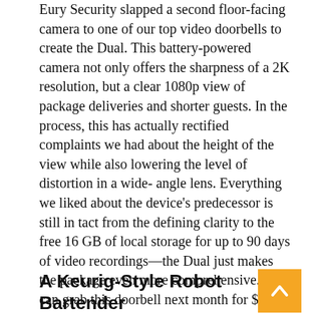Eury Security slapped a second floor-facing camera to one of our top video doorbells to create the Dual. This battery-powered camera not only offers the sharpness of a 2K resolution, but a clear 1080p view of package deliveries and shorter guests. In the process, this has actually rectified complaints we had about the height of the view while also lowering the level of distortion in a wide- angle lens. Everything we liked about the device's predecessor is still in tact from the defining clarity to the free 16 GB of local storage for up to 90 days of video recordings—the Dual just makes the package even more comprehensive. You can grab this doorbell next month for $260 when it launches on February 8th.
A Keurig-Style Robot Bartender